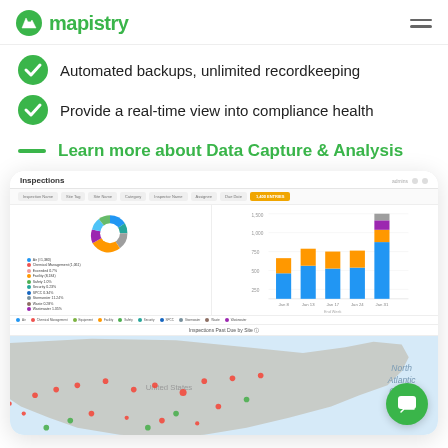mapistry
Automated backups, unlimited recordkeeping
Provide a real-time view into compliance health
Learn more about Data Capture & Analysis
[Figure (screenshot): Mapistry dashboard screenshot showing an Inspections page with a donut chart of inspection categories, a stacked bar chart of inspections by week (Jan 8, Jan 13, Jan 17, Jan 24, Jan 31), and a map of Inspections Past Due by Site across the United States.]